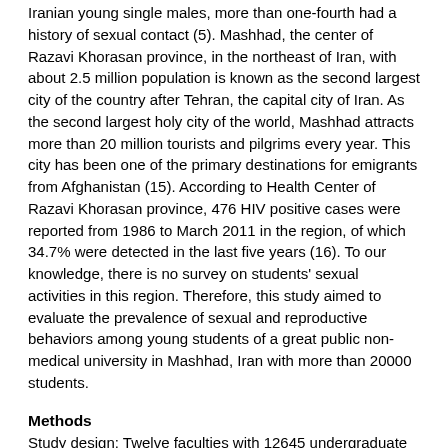Iranian young single males, more than one-fourth had a history of sexual contact (5). Mashhad, the center of Razavi Khorasan province, in the northeast of Iran, with about 2.5 million population is known as the second largest city of the country after Tehran, the capital city of Iran. As the second largest holy city of the world, Mashhad attracts more than 20 million tourists and pilgrims every year. This city has been one of the primary destinations for emigrants from Afghanistan (15). According to Health Center of Razavi Khorasan province, 476 HIV positive cases were reported from 1986 to March 2011 in the region, of which 34.7% were detected in the last five years (16). To our knowledge, there is no survey on students' sexual activities in this region. Therefore, this study aimed to evaluate the prevalence of sexual and reproductive behaviors among young students of a great public non-medical university in Mashhad, Iran with more than 20000 students.
Methods
Study design: Twelve faculties with 12645 undergraduate students including 8398 females (66.4%) and 4247 males (33.6%) were stratified as humanities, psychology, agriculture, engineering, and basic sciences. The most populous faculty was selected from each stratum. In each faculty, the students were classified based on four different administrative groups and